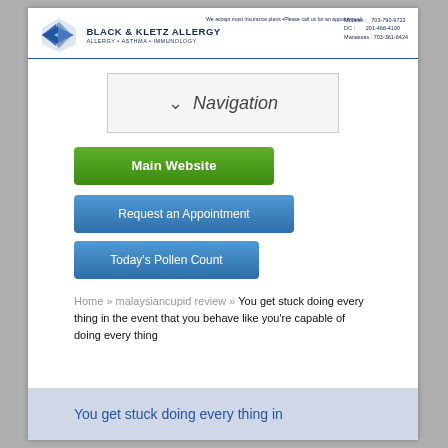BLACK & KLETZ ALLERGY — We accept most insurance plans • Please call us for an appointment! — Allergy • Asthma • Immunology — McLean: 703-790-9722 DC: 201-466-4100 Manassas: 703-361-6424
[Figure (other): Navigation dropdown box with chevron and italic Navigation label]
Main Website
Request an Appointment
Today's Pollen Count
Home » malaysiancupid review » You get stuck doing every thing in the event that you behave like you're capable of doing every thing
You get stuck doing every thing in